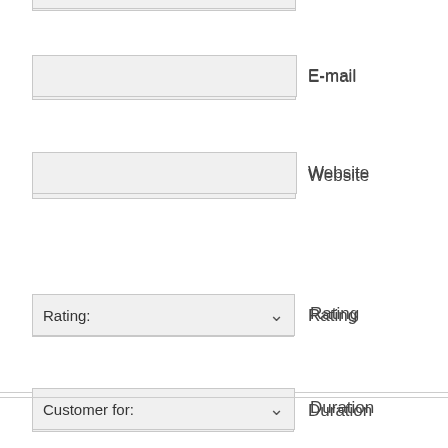[Figure (screenshot): Web form with fields: E-mail (text input), Website (text input), Rating (dropdown), Customer for/Duration (dropdown), a textarea, and a Submit button. A horizontal divider line appears near the bottom.]
E-mail
Website
Rating:
Rating
Customer for:
Duration
Submit